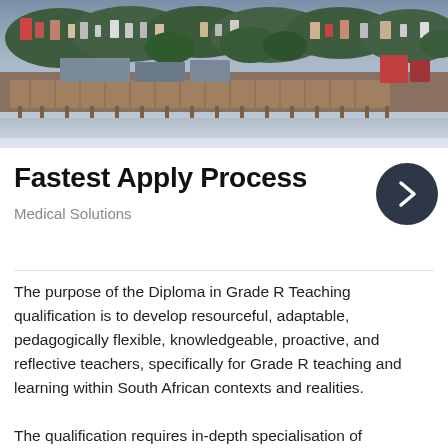[Figure (photo): Aerial/waterfront city photo showing a harbour, pier with wooden pilings, waterfront buildings, and a cityscape with trees and residential buildings in the background under overcast sky.]
Fastest Apply Process
Medical Solutions
The purpose of the Diploma in Grade R Teaching qualification is to develop resourceful, adaptable, pedagogically flexible, knowledgeable, proactive, and reflective teachers, specifically for Grade R teaching and learning within South African contexts and realities.
The qualification requires in-depth specialisation of knowledge,